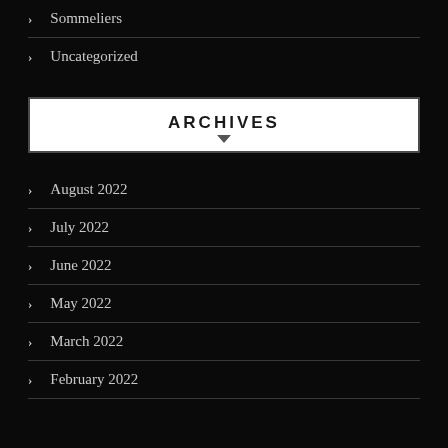> Sommeliers
> Uncategorized
ARCHIVES
> August 2022
> July 2022
> June 2022
> May 2022
> March 2022
> February 2022